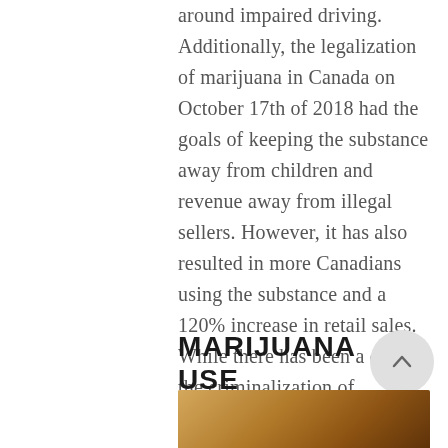around impaired driving. Additionally, the legalization of marijuana in Canada on October 17th of 2018 had the goals of keeping the substance away from children and revenue away from illegal sellers. However, it has also resulted in more Canadians using the substance and a 120% increase in retail sales. While there has been a drop in the criminalization of marijuana, an increase in consumption can result in a rising marijuana addiction rate.
MARIJUANA USE RATES IN CANADA'S PROVINCES
[Figure (photo): Bottom portion of a photo, showing a warm brown/amber toned image, likely depicting marijuana or cannabis-related subject matter.]